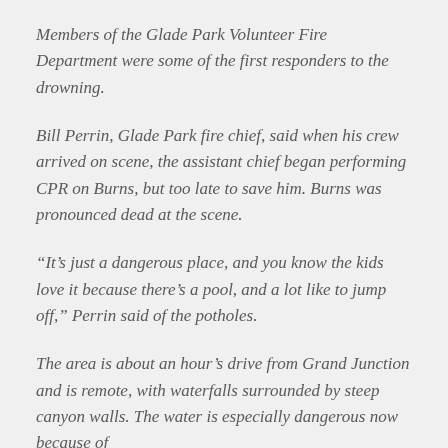Members of the Glade Park Volunteer Fire Department were some of the first responders to the drowning.
Bill Perrin, Glade Park fire chief, said when his crew arrived on scene, the assistant chief began performing CPR on Burns, but too late to save him. Burns was pronounced dead at the scene.
“It’s just a dangerous place, and you know the kids love it because there’s a pool, and a lot like to jump off,” Perrin said of the potholes.
The area is about an hour’s drive from Grand Junction and is remote, with waterfalls surrounded by steep canyon walls. The water is especially dangerous now because of